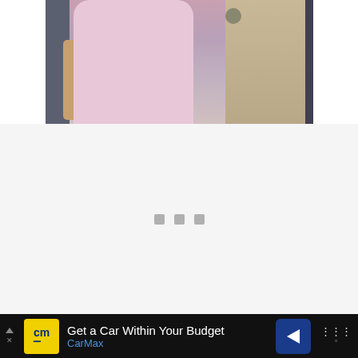[Figure (photo): Cropped photo showing two people at what appears to be an event. One person wearing a pink/light purple draped dress, another in a tan/khaki jacket with a decorative brooch. Dark background visible on edges.]
[Figure (other): Loading spinner area with three gray square dots centered in a light gray rectangle, indicating content is loading.]
[Figure (other): Advertisement banner at bottom: CarMax ad showing 'Get a Car Within Your Budget' with yellow CarMax logo and blue navigation arrow icon. Right side shows partial weather widget icon.]